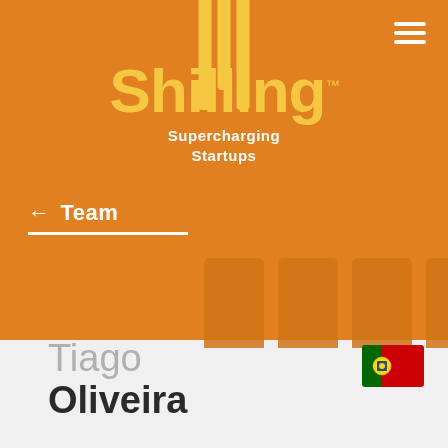[Figure (logo): Shilling brand logo with yellow text on orange background, with tagline 'Supercharging Startups' and decorative vertical bars]
← Team
Tiago
Oliveira
[Figure (illustration): Portuguese flag emoji/icon]